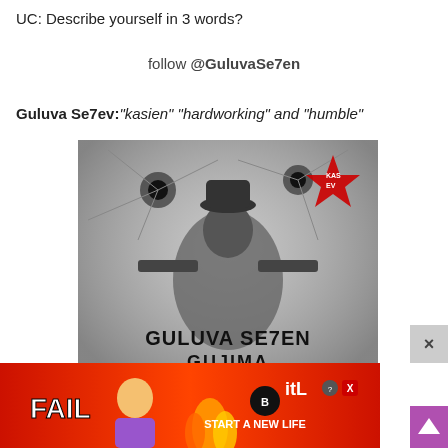UC: Describe yourself in 3 words?
follow @GuluvaSe7en
Guluva Se7ev: "kasien" "hardworking" and "humble"
[Figure (photo): Black and white album art for 'Guluva Se7en – Gujima'. Shows a figure holding dual guns with bullet holes in background and a red star logo with 'KAS EV' text. Parental Advisory label in bottom left corner.]
[Figure (screenshot): Advertisement banner for BitLife game at bottom of page. Shows 'FAIL' text, animated character, flames, and 'START A NEW LIFE' text on red/orange background.]